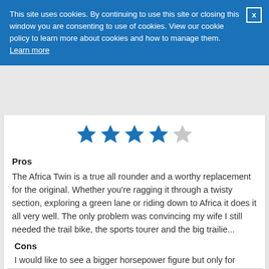This site uses cookies. By continuing to use this site or closing this window you are consenting to use of cookies. View our cookie policy to learn more about cookies and how to manage them. Learn more
[Figure (other): 4 out of 5 stars rating shown with 4 filled blue stars and 1 empty grey star]
Pros
The Africa Twin is a true all rounder and a worthy replacement for the original. Whether you're ragging it through a twisty section, exploring a green lane or riding down to Africa it does it all very well. The only problem was convincing my wife I still needed the trail bike, the sports tourer and the big trailie...
Cons
I would like to see a bigger horsepower figure but only for bragging rights
Read More ∨